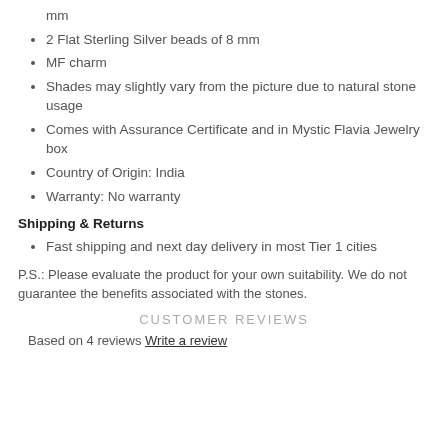mm
2 Flat Sterling Silver beads of 8 mm
MF charm
Shades may slightly vary from the picture due to natural stone usage
Comes with Assurance Certificate and in Mystic Flavia Jewelry box
Country of Origin: India
Warranty: No warranty
Shipping & Returns
Fast shipping and next day delivery in most Tier 1 cities
P.S.: Please evaluate the product for your own suitability. We do not guarantee the benefits associated with the stones.
CUSTOMER REVIEWS
Based on 4 reviews Write a review